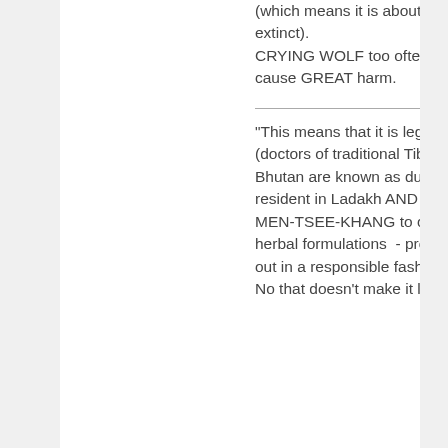(which means it is about to become extinct). CRYING WOLF too often, will, in time cause GREAT harm.
"This means that it is legitimate for amchis (doctors of traditional Tibetan Medicine in Bhutan are known as dungtshos) long resident in Ladakh AND those based a MEN-TSEE-KHANG to collect material for herbal formulations  - provided it carried out in a responsible fashion."
No that doesn't make it legitimate for